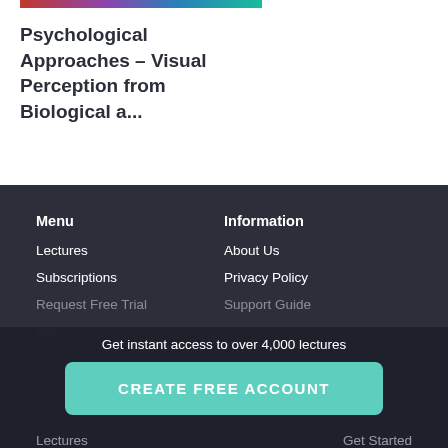[Figure (photo): Colorful course thumbnail image (partially visible at top)]
Psychological Approaches – Visual Perception from Biological a...
Menu | Information footer with links: Lectures, Subscriptions, Request Free Trial, About Us, Privacy Policy, Support Guide
Get instant access to over 4,000 lectures
CREATE FREE ACCOUNT
Lectures
Get Started